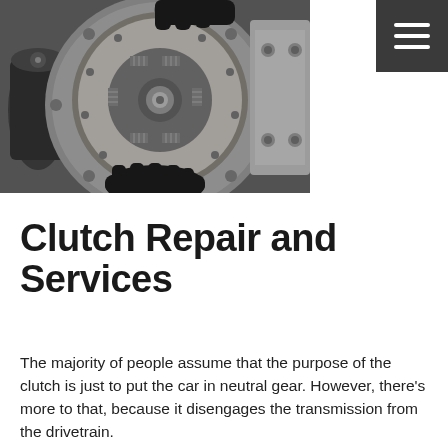[Figure (photo): Close-up photo of a clutch disc being held by gloved hands, showing the clutch plate with springs and friction material, with the flywheel assembly visible in the background.]
Clutch Repair and Services
The majority of people assume that the purpose of the clutch is just to put the car in neutral gear. However, there's more to that, because it disengages the transmission from the drivetrain.